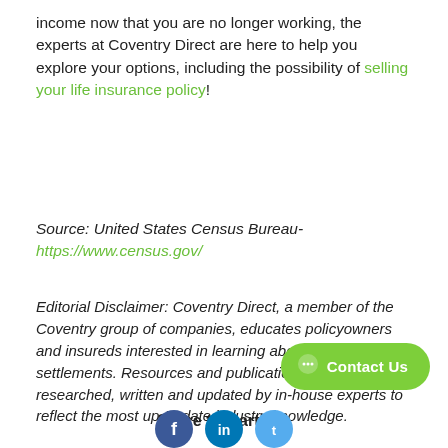income now that you are no longer working, the experts at Coventry Direct are here to help you explore your options, including the possibility of selling your life insurance policy!
Source: United States Census Bureau- https://www.census.gov/
Editorial Disclaimer: Coventry Direct, a member of the Coventry group of companies, educates policyowners and insureds interested in learning about life settlements. Resources and publications are researched, written and updated by in-house experts to reflect the most up-to-date industry knowledge.
Share this article.